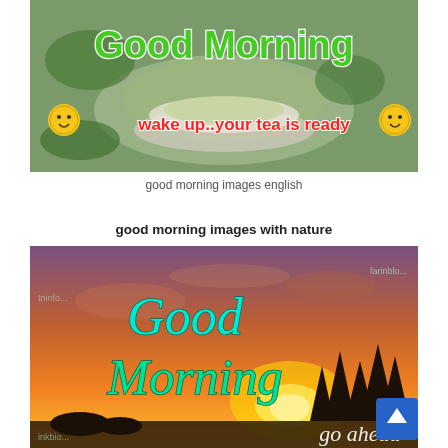[Figure (photo): Good Morning greeting card with tea cup background, text 'Good Morning' in green, 'wake up..your tea is ready' in red/white with smiley emoji faces]
good morning images english
good morning images with nature
[Figure (photo): Good Morning nature greeting with sunset/sunrise background, trees silhouette, text 'Good Morning' in cyan/teal and 'go ahead' in white italic, watermark text visible]